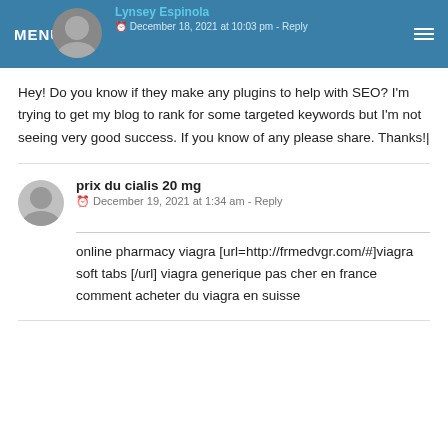MENU | Lynsey Espinola | December 18, 2021 at 10:03 pm - Reply
Hey! Do you know if they make any plugins to help with SEO? I'm trying to get my blog to rank for some targeted keywords but I'm not seeing very good success. If you know of any please share. Thanks!|
prix du cialis 20 mg
December 19, 2021 at 1:34 am - Reply
online pharmacy viagra [url=http://frmedvgr.com/#]viagra soft tabs [/url] viagra generique pas cher en france comment acheter du viagra en suisse